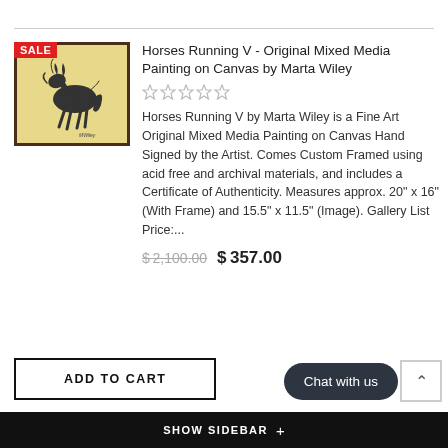[Figure (photo): Framed painting of horses running, 'Horses Running V' by Marta Wiley, with a red SALE badge in the top-left corner of the frame]
Horses Running V - Original Mixed Media Painting on Canvas by Marta Wiley
★★★★★ (empty stars rating)
Horses Running V by Marta Wiley is a Fine Art Original Mixed Media Painting on Canvas Hand Signed by the Artist. Comes Custom Framed using acid free and archival materials, and includes a Certificate of Authenticity. Measures approx. 20" x 16" (With Frame) and 15.5" x 11.5" (Image). Gallery List Price:...
$2,100.00  $357.00
ADD TO CART
Chat with us
SHOW SIDEBAR +